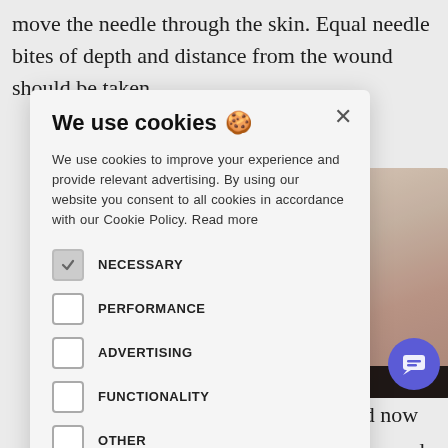move the needle through the skin. Equal needle bites of depth and distance from the wound should be taken
and neatly.
needle and pull o follow the ugh the skin, should now o the wound, ge.
[Figure (screenshot): Cookie consent modal dialog overlaying a medical webpage about wound suturing. The modal has title 'We use cookies 🍪' with body text about cookie policy. It contains checkboxes for NECESSARY (checked), PERFORMANCE, ADVERTISING, FUNCTIONALITY, and OTHER. A green 'ACCEPT ALL' button is at the bottom. A close X button is in the top right.]
[Figure (photo): Close-up photograph of skin being sutured, showing flesh tones in pink and beige.]
your for